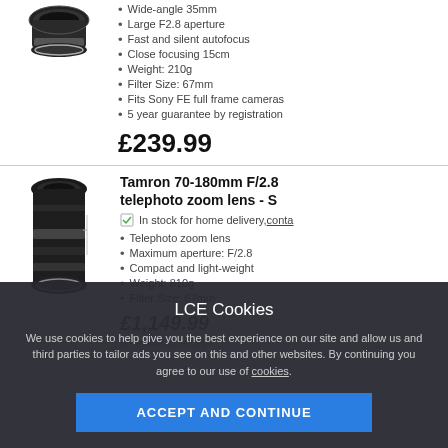[Figure (photo): Camera lens product image - small wide-angle lens (top product)]
Wide-angle 35mm
Large F2.8 aperture
Fast and silent autofocus
Close focusing 15cm
Weight: 210g
Filter Size: 67mm
Fits Sony FE full frame cameras
5 year guarantee by registration
£239.99
[Figure (photo): Camera lens product image - Tamron 70-180mm telephoto zoom lens]
Tamron 70-180mm F/2.8 telephoto zoom lens - S
In stock for home delivery, conta...
Telephoto zoom lens
Maximum aperture: F/2.8
Compact and light-weight
Weight: 810g
Filter Size: 67mm
£1,149.99
per month (10% Depo...
LCE Cookies
We use cookies to help give you the best experience on our site and allow us and third parties to tailor ads you see on this and other websites. By continuing you agree to our use of cookies.
ACCEPT AND CONTINUE